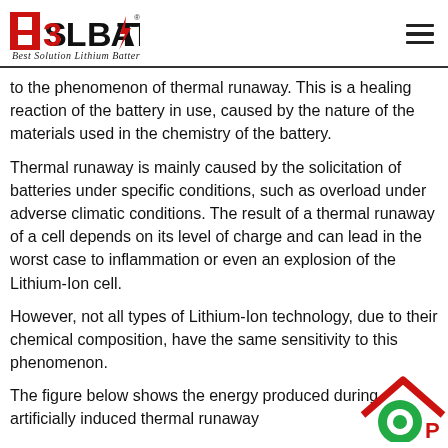BSLBATT - Best Solution Lithium Battery
to the phenomenon of thermal runaway. This is a healing reaction of the battery in use, caused by the nature of the materials used in the chemistry of the battery.
Thermal runaway is mainly caused by the solicitation of batteries under specific conditions, such as overload under adverse climatic conditions. The result of a thermal runaway of a cell depends on its level of charge and can lead in the worst case to inflammation or even an explosion of the Lithium-Ion cell.
However, not all types of Lithium-Ion technology, due to their chemical composition, have the same sensitivity to this phenomenon.
The figure below shows the energy produced during artificially induced thermal runaway